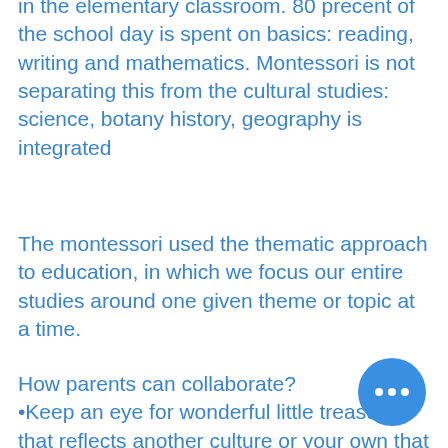in the elementary classroom. 80 precent of the school day is spent on basics: reading, writing and mathematics. Montessori is not separating this from the cultural studies: science, botany history, geography is integrated
The montessori used the thematic approach to education, in which we focus our entire studies around one given theme or topic at a time.
How parents can collaborate?
•Keep an eye for wonderful little treasures that reflects another culture or your own that is rarely seen (books, pictures, paintings,
•When you go on trips, bring back something (a stone, an artifact) and